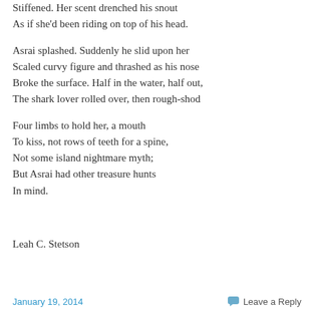Stiffened. Her scent drenched his snout
As if she'd been riding on top of his head.

Asrai splashed. Suddenly he slid upon her
Scaled curvy figure and thrashed as his nose
Broke the surface. Half in the water, half out,
The shark lover rolled over, then rough-shod

Four limbs to hold her, a mouth
To kiss, not rows of teeth for a spine,
Not some island nightmare myth;
But Asrai had other treasure hunts
In mind.
Leah C. Stetson
January 19, 2014    Leave a Reply